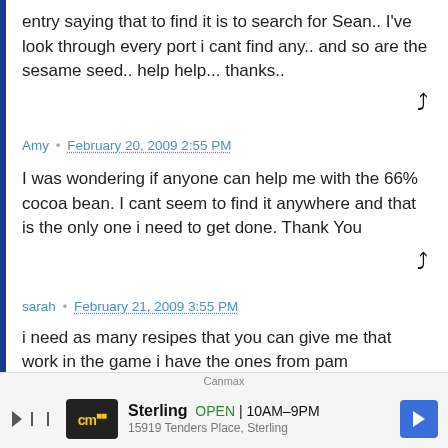entry saying that to find it is to search for Sean.. I've look through every port i cant find any.. and so are the sesame seed.. help help... thanks..
Amy • February 20, 2009 2:55 PM
I was wondering if anyone can help me with the 66% cocoa bean. I cant seem to find it anywhere and that is the only one i need to get done. Thank You
sarah • February 21, 2009 3:55 PM
i need as many resipes that you can give me that work in the game i have the ones from pam
[Figure (infographic): Advertisement banner for Sterling store with CM logo, showing OPEN 10AM-9PM with navigation arrow]